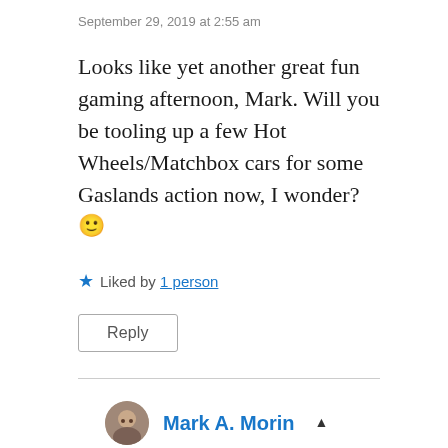September 29, 2019 at 2:55 am
Looks like yet another great fun gaming afternoon, Mark. Will you be tooling up a few Hot Wheels/Matchbox cars for some Gaslands action now, I wonder? 🙂
★ Liked by 1 person
Reply
Mark A. Morin ▲
October 7, 2019 at 8:15 pm
Maybe, but I still have so much stuff to paint that I'm more likely to just play! I did get a